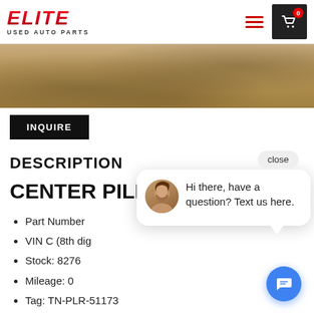ELITE USED AUTO PARTS
[Figure (photo): Product photo showing sandy/dirt surface texture, partial view of auto part]
INQUIRE
DESCRIPTION
CENTER PILLAR
Part Number:
VIN C (8th digit):
Stock: 8276
Mileage: 0
Tag: TN-PLR-51173
VIN: 5NPEB4AC7EH860536
[Figure (screenshot): Chat popup with avatar photo of woman, text: Hi there, have a question? Text us here. With close button and chat FAB button.]